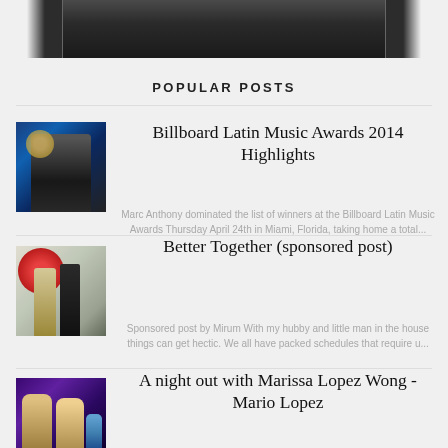[Figure (photo): Partial top of a photo showing two people, cropped at the top of the page]
POPULAR POSTS
[Figure (photo): Photo of Marc Anthony in a dark suit at the Billboard Latin Music Awards]
Billboard Latin Music Awards 2014 Highlights
Marc Anthony dominated the list of winners at the Billboard Latin Music Awards Thursday April 24th in Miami, Florida, taking home a total...
[Figure (photo): Photo of beauty/hair products with a red flower]
Better Together (sponsored post)
Sponsored post by Mirum With my hubby and little man in the house things can get hectic. We all have packed schedules that require u...
[Figure (photo): Photo of Marissa Lopez Wong with Mario Lopez and others at a night out event]
A night out with Marissa Lopez Wong - Mario Lopez